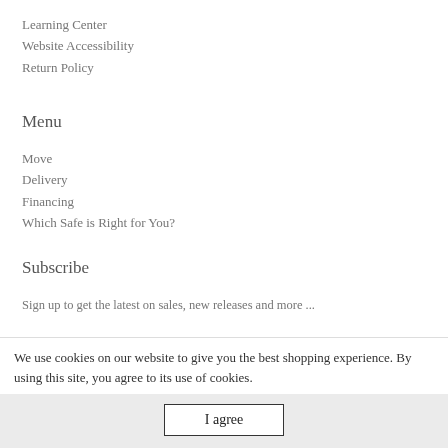Learning Center
Website Accessibility
Return Policy
Menu
Move
Delivery
Financing
Which Safe is Right for You?
Subscribe
Sign up to get the latest on sales, new releases and more ...
Email
We use cookies on our website to give you the best shopping experience. By using this site, you agree to its use of cookies.
I agree